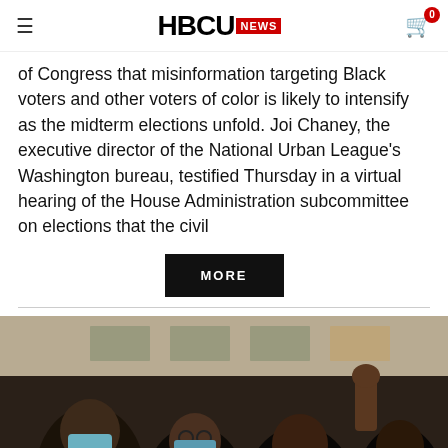HBCU NEWS
of Congress that misinformation targeting Black voters and other voters of color is likely to intensify as the midterm elections unfold. Joi Chaney, the executive director of the National Urban League's Washington bureau, testified Thursday in a virtual hearing of the House Administration subcommittee on elections that the civil
MORE
[Figure (photo): Crowd of people at a public gathering, one person raising a fist in the air, several wearing face masks, photographed outdoors in front of a building]